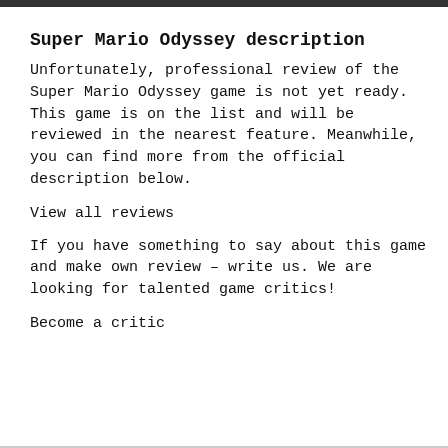Super Mario Odyssey description
Unfortunately, professional review of the Super Mario Odyssey game is not yet ready. This game is on the list and will be reviewed in the nearest feature. Meanwhile, you can find more from the official description below.
View all reviews
If you have something to say about this game and make own review – write us. We are looking for talented game critics!
Become a critic